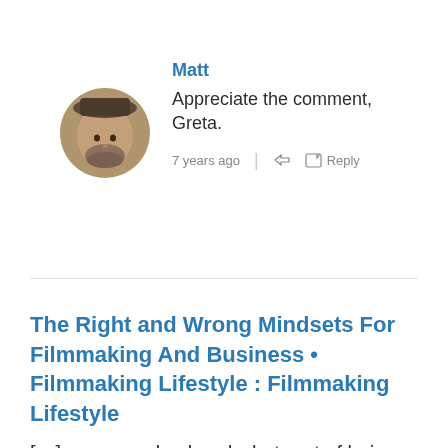Matt
Appreciate the comment, Greta.
7 years ago   Reply
The Right and Wrong Mindsets For Filmmaking And Business • Filmmaking Lifestyle : Filmmaking Lifestyle
[…] sure you do already, but part of being a success in these areas is learning to